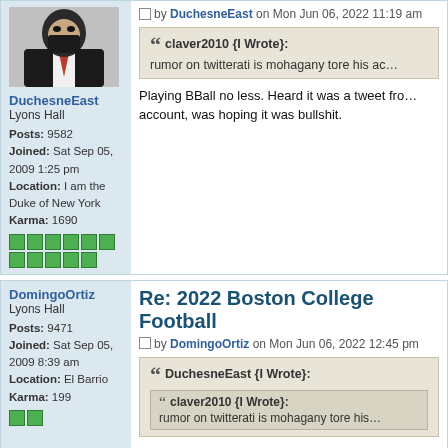[Figure (photo): Avatar of DuchesneEast: person in suit wearing black mask with red tie]
DuchesneEast
Lyons Hall

Posts: 9582
Joined: Sat Sep 05, 2009 1:25 pm
Location: I am the Duke of New York
Karma: 1690
by DuchesneEast on Mon Jun 06, 2022 11:19 am
claver2010 {I Wrote}: rumor on twitterati is mohagany tore his ac…
Playing BBall no less. Heard it was a tweet fro… account, was hoping it was bullshit.
Re: 2022 Boston College Football
by DomingoOrtiz on Mon Jun 06, 2022 12:45 pm
DomingoOrtiz
Lyons Hall

Posts: 9471
Joined: Sat Sep 05, 2009 8:39 am
Location: El Barrio
Karma: 199
DuchesneEast {I Wrote}: claver2010 {I Wrote}: rumor on twitterati is mohagany tore his…
Playing BBall no less. Heard it was a tweet… account, was hoping it was bullshit.